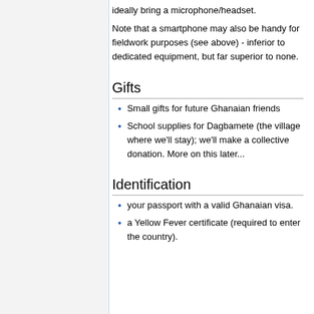ideally bring a microphone/headset.
Note that a smartphone may also be handy for fieldwork purposes (see above) - inferior to dedicated equipment, but far superior to none.
Gifts
Small gifts for future Ghanaian friends
School supplies for Dagbamete (the village where we'll stay); we'll make a collective donation. More on this later...
Identification
your passport with a valid Ghanaian visa.
a Yellow Fever certificate (required to enter the country).